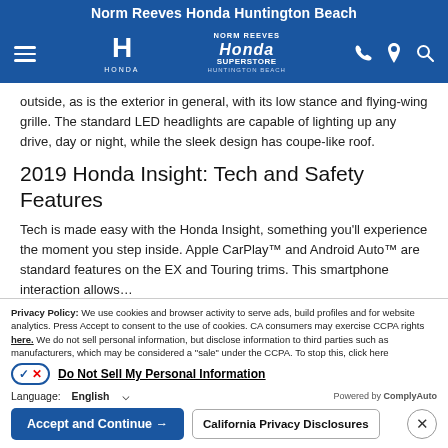Norm Reeves Honda Huntington Beach
[Figure (screenshot): Blue navigation bar with hamburger menu, Honda logo, Norm Reeves Honda Superstore logo, phone icon, location pin icon, and search icon]
outside, as is the exterior in general, with its low stance and flying-wing grille. The standard LED headlights are capable of lighting up any drive, day or night, while the sleek design has coupe-like roof.
2019 Honda Insight: Tech and Safety Features
Tech is made easy with the Honda Insight, something you'll experience the moment you step inside. Apple CarPlay™ and Android Auto™ are standard features on the EX and Touring trims. This smartphone interaction allows...
Privacy Policy: We use cookies and browser activity to serve ads, build profiles and for website analytics. Press Accept to consent to the use of cookies. CA consumers may exercise CCPA rights here. We do not sell personal information, but disclose information to third parties such as manufacturers, which may be considered a "sale" under the CCPA. To stop this, click here
Do Not Sell My Personal Information
Language: English | Powered by ComplyAuto
Accept and Continue → | California Privacy Disclosures